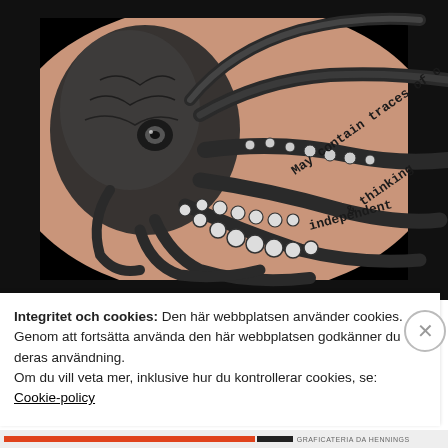[Figure (photo): A photograph of a person's chest/upper torso showing a large detailed octopus tattoo in black ink. The octopus has intricate dotwork and linework. Text incorporated into the tattoo reads 'May contain traces of o... & thinking independent'.]
Integritet och cookies: Den här webbplatsen använder cookies. Genom att fortsätta använda den här webbplatsen godkänner du deras användning.
Om du vill veta mer, inklusive hur du kontrollerar cookies, se: Cookie-policy
Stäng och acceptera